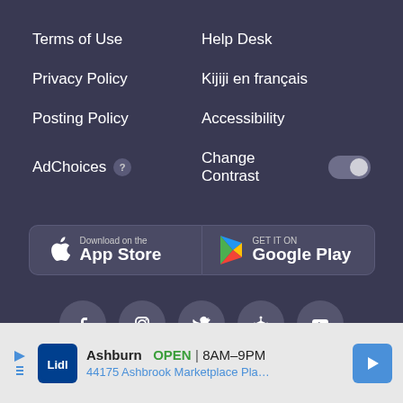Terms of Use
Help Desk
Privacy Policy
Kijiji en français
Posting Policy
Accessibility
AdChoices
Change Contrast
[Figure (screenshot): App store download buttons: Download on the App Store and Get it on Google Play]
[Figure (infographic): Social media icons: Facebook, Instagram, Twitter, network/community, YouTube]
All rights reserved. Google, Google Play, YouTube and other
[Figure (screenshot): Advertisement banner: Ashburn OPEN 8AM-9PM, 44175 Ashbrook Marketplace Pla..., Lidl logo]